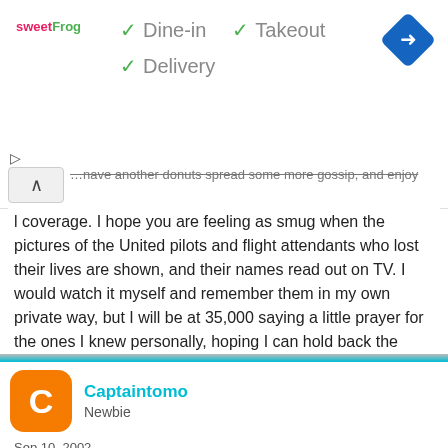[Figure (screenshot): Ad banner for sweetFrog with checkmarks for Dine-in, Takeout, Delivery and a blue navigation diamond icon]
...coverage. I hope you are feeling as smug when the pictures of the United pilots and flight attendants who lost their lives are shown, and their names read out on TV. I would watch it myself and remember them in my own private way, but I will be at 35,000 saying a little prayer for the ones I knew personally, hoping I can hold back the emotions while checking in with Cleveland Center at 0746 CST.

Over and out!

mancityfan
Captaintomo
Newbie
Sep 10, 2002  2  0